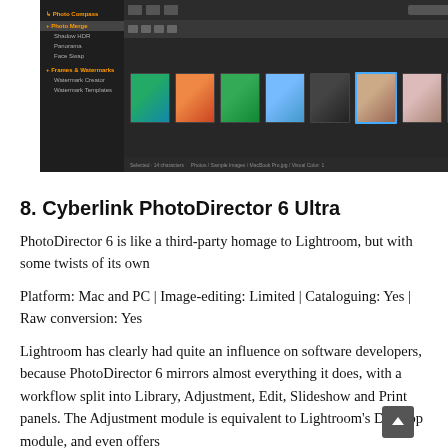[Figure (screenshot): Screenshot of Cyberlink PhotoDirector 6 Ultra software interface showing a dark-themed photo management application with a sidebar menu on the left containing options like Photo Compass, Photo Merge, Shadow HDR, Panorama, Face Swap, Frames & Watermarks, Watermark Creator, Watermark Templates, and a filmstrip of photos across the bottom including landscape, portrait, and nature shots with one portrait selected highlighted in blue.]
8. Cyberlink PhotoDirector 6 Ultra
PhotoDirector 6 is like a third-party homage to Lightroom, but with some twists of its own
Platform: Mac and PC | Image-editing: Limited | Cataloguing: Yes | Raw conversion: Yes
Lightroom has clearly had quite an influence on software developers, because PhotoDirector 6 mirrors almost everything it does, with a workflow split into Library, Adjustment, Edit, Slideshow and Print panels. The Adjustment module is equivalent to Lightroom's Develop module, and even offers